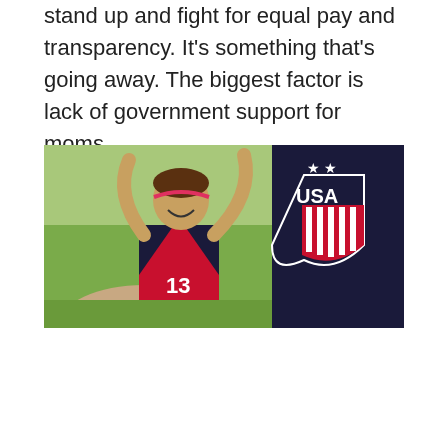stand up and fight for equal pay and transparency. It's something that's going away. The biggest factor is lack of government support for moms.
[Figure (photo): A female soccer player wearing a red and navy USA number 13 jersey raises her arm and smiles, with a USSF crest (USA shield logo with stars) visible in the background.]